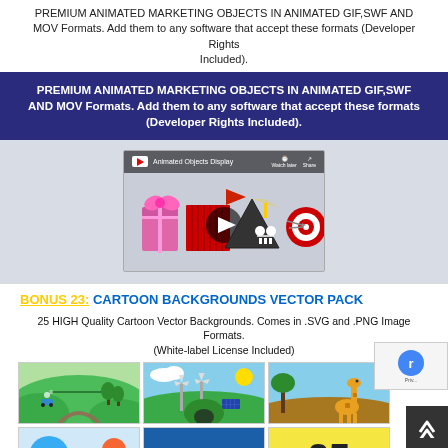PREMIUM ANIMATED MARKETING OBJECTS IN ANIMATED GIF,SWF AND MOV Formats. Add them to any software that accept these formats (Developer Rights Included).
[Figure (infographic): Dark blue banner with bold white text: PREMIUM ANIMATED MARKETING OBJECTS IN ANIMATED GIF,SWF AND MOV Formats. Add them to any software that accept these formats (Developer Rights Included).]
[Figure (screenshot): YouTube video thumbnail titled 'Animated Objects Display' showing animated marketing objects including a gift box, red accordion-like object, red flag, skull danger sign, and target. Play button in center.]
BONUS 23: CARTOON BACKGROUNDS VECTOR PACK
25 HIGH Quality Cartoon Vector Backgrounds. Comes in .SVG and .PNG Image Formats. (White-label License Included)
[Figure (illustration): Grid of cartoon vector background images showing nature, green energy, and giraffe savanna scenes, plus a partially visible 'CARTOON VECTOR' banner and '25' text.]